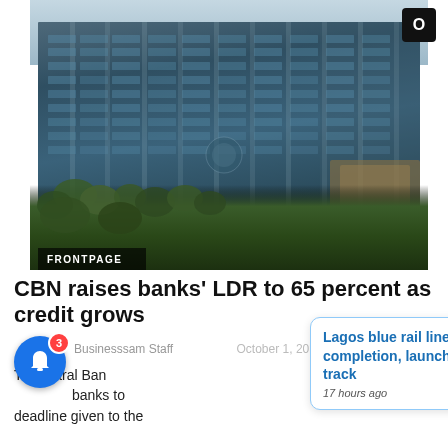[Figure (photo): Photo of a large dark blue glass-and-concrete multi-story building (Central Bank of Nigeria headquarters), surrounded by trees in the foreground and a light sky above. A 'FRONTPAGE' label appears in the bottom-left of the image.]
CBN raises banks' LDR to 65 percent as credit grows
Businesssam Staff
October 1, 2019
The Central Bank ... banks to ... deadline given to the
Lagos blue rail line nears completion, launches final track
17 hours ago